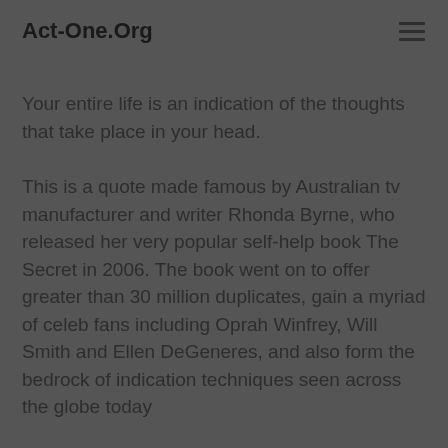Act-One.Org
Your entire life is an indication of the thoughts that take place in your head.
This is a quote made famous by Australian tv manufacturer and writer Rhonda Byrne, who released her very popular self-help book The Secret in 2006. The book went on to offer greater than 30 million duplicates, gain a myriad of celeb fans including Oprah Winfrey, Will Smith and Ellen DeGeneres, and also form the bedrock of indication techniques seen across the globe today